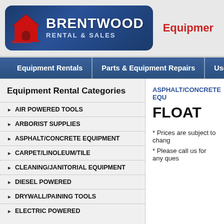[Figure (logo): Brentwood Rental & Sales logo with red house icon on dark blue rounded badge]
Equipment
Equipment Rentals | Parts & Equipment Repairs | Used Eq...
Equipment Rental Categories
AIR POWERED TOOLS
ARBORIST SUPPLIES
ASPHALT/CONCRETE EQUIPMENT
CARPET/LINOLEUM/TILE
CLEANING/JANITORIAL EQUIPMENT
DIESEL POWERED
DRYWALL/PAINING TOOLS
ELECTRIC POWERED
ASPHALT/CONCRETE EQU...
FLOAT
* Prices are subject to change...
* Please call us for any ques...